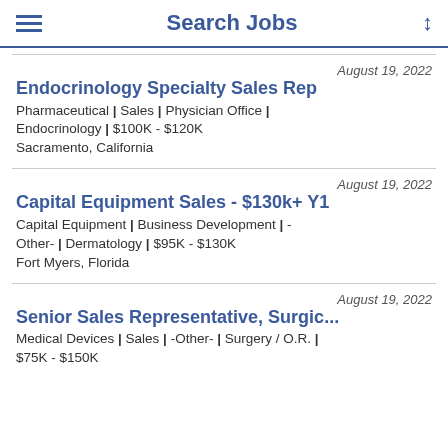Search Jobs
August 19, 2022
Endocrinology Specialty Sales Rep
Pharmaceutical | Sales | Physician Office | Endocrinology | $100K - $120K
Sacramento, California
August 19, 2022
Capital Equipment Sales - $130k+ Y1
Capital Equipment | Business Development | -Other- | Dermatology | $95K - $130K
Fort Myers, Florida
August 19, 2022
Senior Sales Representative, Surgic...
Medical Devices | Sales | -Other- | Surgery / O.R. | $75K - $150K